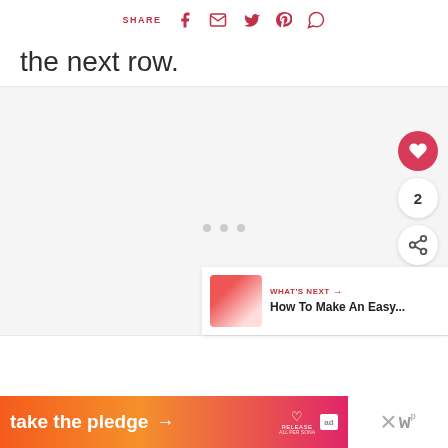SHARE [facebook] [email] [twitter] [pinterest] [whatsapp]
the next row.
[Figure (screenshot): Large light gray content area placeholder with three dots centered, a red heart button at top right, a count bubble showing '2', and a share+ button below]
[Figure (infographic): What's Next card showing a small food image thumbnail and text 'WHAT'S NEXT → How To Make An Easy...']
[Figure (infographic): Ad banner: orange-to-pink gradient 'take the pledge →' with RELEASE logo and ad badge, alongside a close X and WordPress logo]